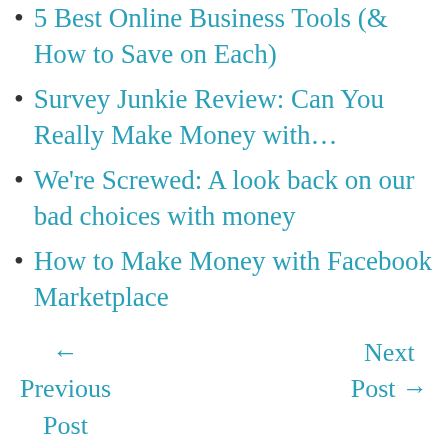5 Best Online Business Tools (& How to Save on Each)
Survey Junkie Review: Can You Really Make Money with…
We're Screwed: A look back on our bad choices with money
How to Make Money with Facebook Marketplace
← Previous Post
Next Post →